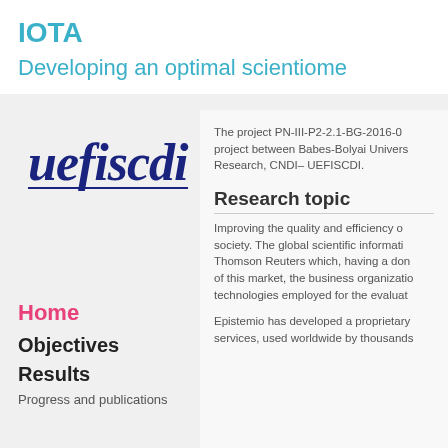IOTA
Developing an optimal scientiometric
[Figure (logo): uefiscdi logo in dark blue cursive/script font]
The project PN-III-P2-2.1-BG-2016-0... project between Babes-Bolyai University... Research, CNDI– UEFISCDI.
Research topic
Improving the quality and efficiency of... society. The global scientific information... Thomson Reuters which, having a dominant... of this market, the business organization... technologies employed for the evaluation...
Epistemio has developed a proprietary... services, used worldwide by thousands...
Home
Objectives
Results
Progress and publications